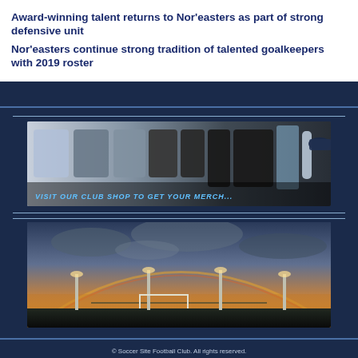Award-winning talent returns to Nor'easters as part of strong defensive unit
Nor'easters continue strong tradition of talented goalkeepers with 2019 roster
[Figure (photo): Club merchandise shop banner showing jerseys, jackets, pants, soccer player, water bottle, hat, mug with text 'VISIT OUR CLUB SHOP TO GET YOUR MERCH']
[Figure (photo): Soccer stadium at dusk/sunset with rainbow arc visible over the field, dramatic cloudy sky with orange and blue tones]
© Soccer Site Football Club. All rights reserved.